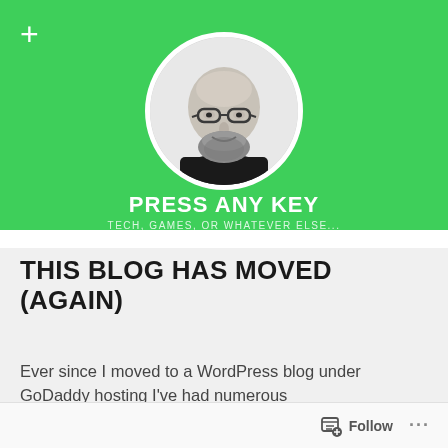[Figure (photo): Green banner with circular profile photo of a bald man with glasses and a beard, in black and white, centered on the green background.]
PRESS ANY KEY
TECH, GAMES, OR WHATEVER ELSE...
THIS BLOG HAS MOVED (AGAIN)
Ever since I moved to a WordPress blog under GoDaddy hosting I've had numerous
Follow ...